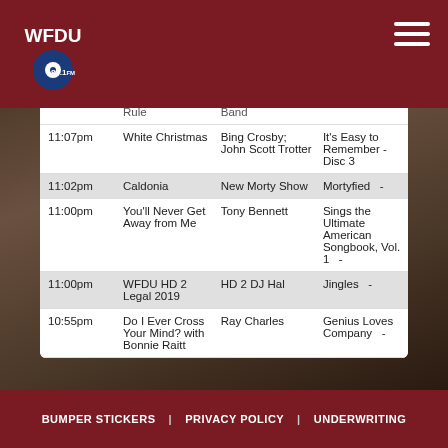WFDU 89.1FM
| Time | Song | Artist | Album |
| --- | --- | --- | --- |
|  | Rule | Band |  |
| 11:07pm | White Christmas | Bing Crosby; John Scott Trotter | It's Easy to Remember - Disc 3 |
| 11:02pm | Caldonia | New Morty Show | Mortyfied - |
| 11:00pm | You'll Never Get Away from Me | Tony Bennett | Sings the Ultimate American Songbook, Vol. 1 - |
| 11:00pm | WFDU HD 2 Legal 2019 | HD 2 DJ Hal | Jingles - |
| 10:55pm | Do I Ever Cross Your Mind? with Bonnie Raitt | Ray Charles | Genius Loves Company - |
BUMPER STICKERS | PRIVACY POLICY | UNDERWRITING